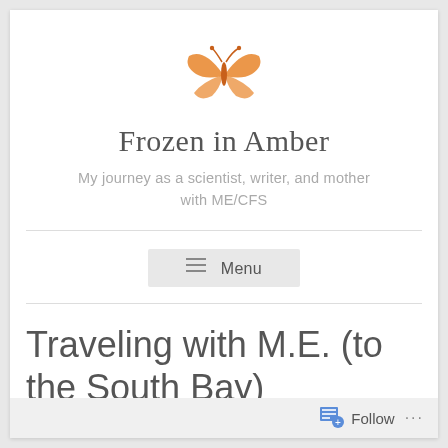[Figure (logo): Orange butterfly logo illustration]
Frozen in Amber
My journey as a scientist, writer, and mother with ME/CFS
≡ Menu
Traveling with M.E. (to the South Bay)
Follow ...